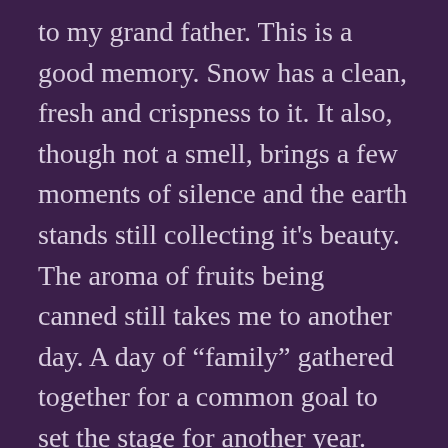to my grand father. This is a good memory. Snow has a clean, fresh and crispness to it. It also, though not a smell, brings a few moments of silence and the earth stands still collecting it's beauty. The aroma of fruits being canned still takes me to another day. A day of “family” gathered together for a common goal to set the stage for another year. The stage? This comes each time another jar is opened and